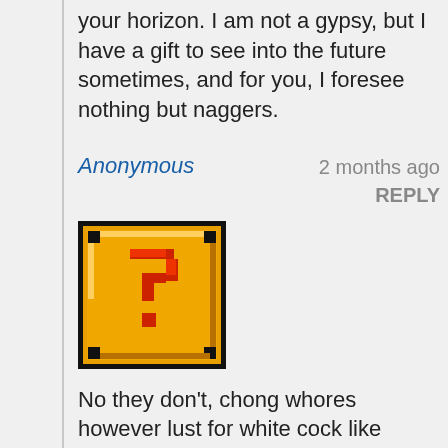your horizon. I am not a gypsy, but I have a gift to see into the future sometimes, and for you, I foresee nothing but naggers.
Anonymous  2 months ago  REPLY
[Figure (illustration): Pixel art style question mark block (Mario-style) in orange/yellow with black border and a red question mark]
No they don't, chong whores however lust for white cock like nothing else.
Anonymous  2 months ago  REPLY
Chi...